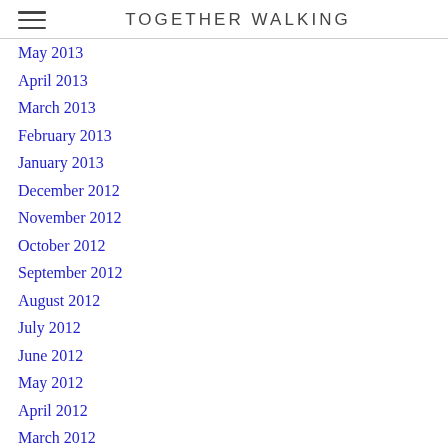TOGETHER WALKING
May 2013
April 2013
March 2013
February 2013
January 2013
December 2012
November 2012
October 2012
September 2012
August 2012
July 2012
June 2012
May 2012
April 2012
March 2012
February 2012
January 2012
December 2011